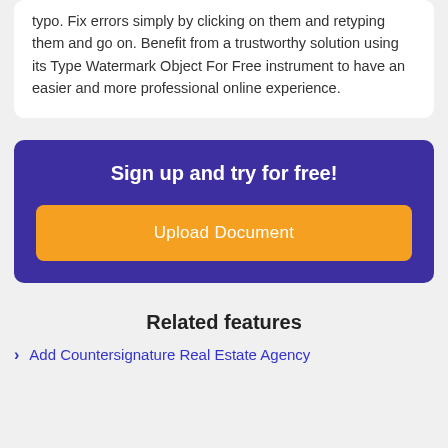typo. Fix errors simply by clicking on them and retyping them and go on. Benefit from a trustworthy solution using its Type Watermark Object For Free instrument to have an easier and more professional online experience.
Sign up and try for free!
Upload Document
Related features
Add Countersignature Real Estate Agency